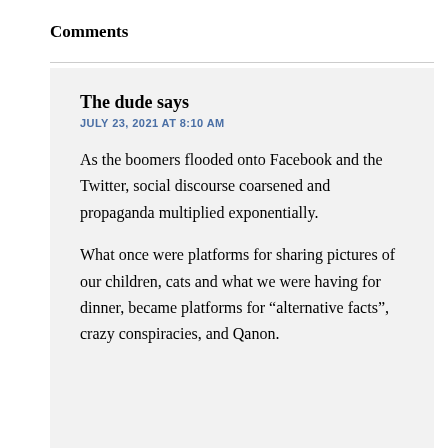Comments
The dude says
JULY 23, 2021 AT 8:10 AM
As the boomers flooded onto Facebook and the Twitter, social discourse coarsened and propaganda multiplied exponentially.
What once were platforms for sharing pictures of our children, cats and what we were having for dinner, became platforms for “alternative facts”, crazy conspiracies, and Qanon.